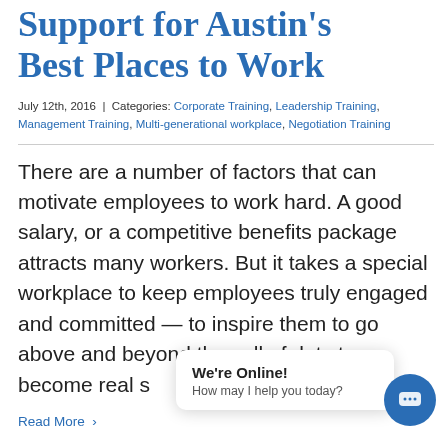Support for Austin's Best Places to Work
July 12th, 2016 | Categories: Corporate Training, Leadership Training, Management Training, Multi-generational workplace, Negotiation Training
There are a number of factors that can motivate employees to work hard. A good salary, or a competitive benefits package attracts many workers. But it takes a special workplace to keep employees truly engaged and committed — to inspire them to go above and beyond the call of duty to become real s
Read More >